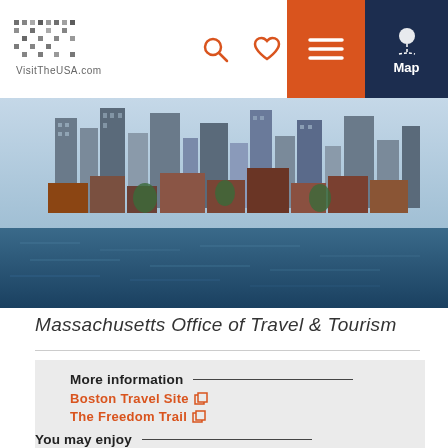VisitTheUSA.com
[Figure (photo): Boston cityscape with buildings and harbor waterfront]
Massachusetts Office of Travel & Tourism
More information
Boston Travel Site
The Freedom Trail
You may enjoy
[Figure (photo): Scenic travel destination photo]